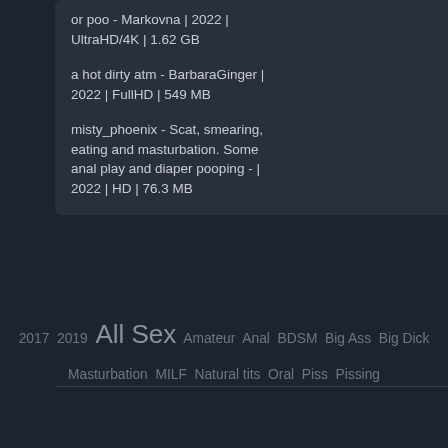or poo - Markovna | 2022 | UltraHD/4K | 1.62 GB
a hot dirty atm - BarbaraGinger | 2022 | FullHD | 549 MB
misty_phoenix - Scat, smearing, eating and masturbation. Some anal play and diaper pooping - | 2022 | HD | 76.3 MB
loverachelle2 | 2019 | FullHD | 204 MB
2017  2019  All Sex  Amateur  Anal  BDSM  Big Ass  Big Dick  Masturbation  MILF  Natural tits  Oral  Piss  Pissing